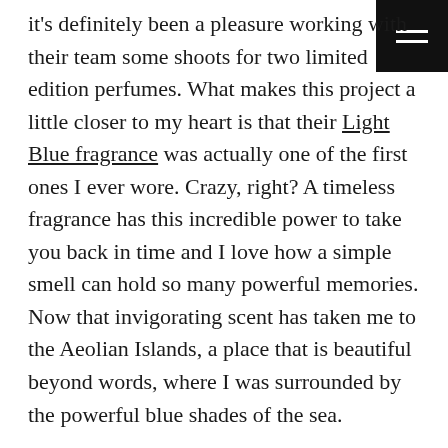it's definitely been a pleasure working with their team some shoots for two limited edition perfumes. What makes this project a little closer to my heart is that their Light Blue fragrance was actually one of the first ones I ever wore. Crazy, right? A timeless fragrance has this incredible power to take you back in time and I love how a simple smell can hold so many powerful memories. Now that invigorating scent has taken me to the Aeolian Islands, a place that is beautiful beyond words, where I was surrounded by the powerful blue shades of the sea.

Navigating this picturesque landscape by boat made this shoot a lot more exciting. With the sapphire blue waters surrounding me and the prominent sun shining, I just couldn't stop smiling! Being out there, floating on the water, was without a doubt the perfect backdrop to